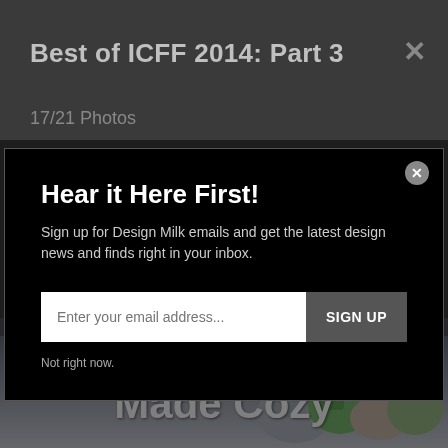Best of ICFF 2014: Part 3
17/21 Photos
Hear it Here First!
Sign up for Design Milk emails and get the latest design news and finds right in your inbox.
Enter your email address...
SIGN UP
Not right now.
[Figure (screenshot): Bottom portion showing 'Made Cozy' text overlay with decorative pillows image in background]